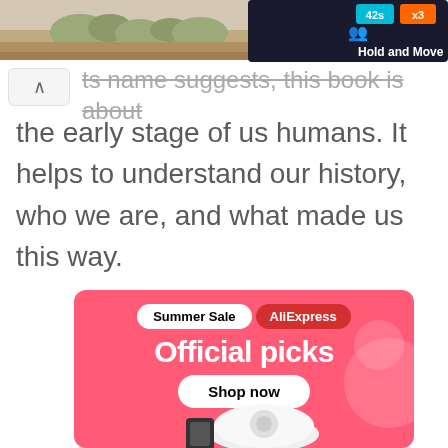[Figure (screenshot): Mobile app UI screenshot showing top bar with scores '42s' and 'x3', person icon, 'Hold and Move' label on dark background, and a landscape photo strip]
ts name suggests, this book is about the early stage of us humans. It helps to understand our history, who we are, and what made us this way.
[Figure (screenshot): AliExpress Summer Sale advertisement banner with pink background showing 'Summer Sale' white pill badge, 'AliExpress' red badge, 'Official picks' in white bold text, 'Shop now' button, and a robot vacuum cleaner image at bottom]